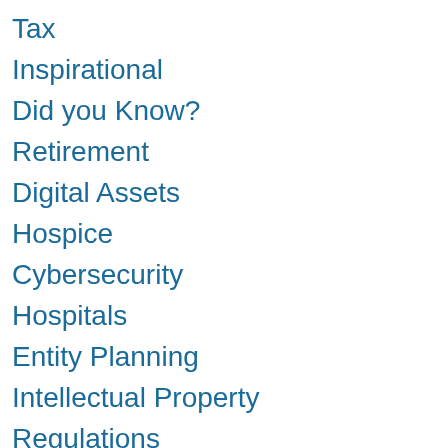Tax
Inspirational
Did you Know?
Retirement
Digital Assets
Hospice
Cybersecurity
Hospitals
Entity Planning
Intellectual Property
Regulations
HIPAA
Copyright
Licensing